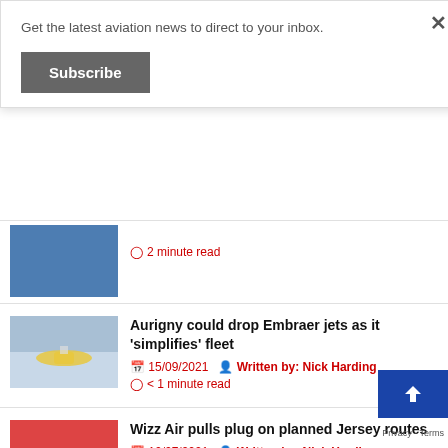Get the latest aviation news to direct to your inbox.
Subscribe
⊙ 2 minute read
Aurigny could drop Embraer jets as it 'simplifies' fleet
📅 15/09/2021  👤 Written by: Nick Harding  ⊙ < 1 minute read
Wizz Air pulls plug on planned Jersey routes
📅 10/07/2021  👤 Written by: Nick Harding  ⊙ < 1 minute read
Wizz Air start flights from Jersey to Ma... UK